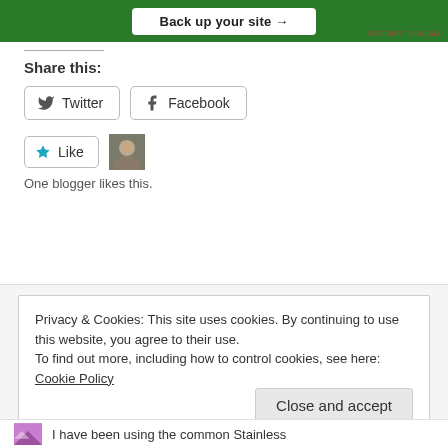[Figure (other): Green advertisement banner with 'Back up your site' button and 'REPORT THIS AD' link]
Share this:
[Figure (other): Twitter share button with bird icon]
[Figure (other): Facebook share button with Facebook icon]
[Figure (other): Like button with star icon and user avatar]
One blogger likes this.
Privacy & Cookies: This site uses cookies. By continuing to use this website, you agree to their use.
To find out more, including how to control cookies, see here: Cookie Policy
Close and accept
I have been using the common Stainless